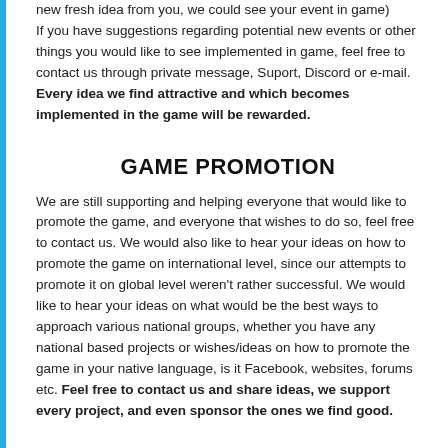new fresh idea from you, we could see your event in game) If you have suggestions regarding potential new events or other things you would like to see implemented in game, feel free to contact us through private message, Suport, Discord or e-mail. Every idea we find attractive and which becomes implemented in the game will be rewarded.
GAME PROMOTION
We are still supporting and helping everyone that would like to promote the game, and everyone that wishes to do so, feel free to contact us. We would also like to hear your ideas on how to promote the game on international level, since our attempts to promote it on global level weren't rather successful. We would like to hear your ideas on what would be the best ways to approach various national groups, whether you have any national based projects or wishes/ideas on how to promote the game in your native language, is it Facebook, websites, forums etc. Feel free to contact us and share ideas, we support every project, and even sponsor the ones we find good.
MODERATORS
We are once again looking for new moderators. It is a job that comes with